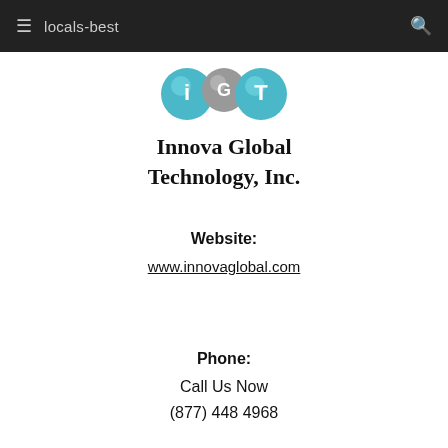≡  locals-best  🔍
[Figure (logo): Innova Global Technology Inc. logo with teal and gray spherical figures and company name in serif font]
Website:
www.innovaglobal.com
Phone:
Call Us Now
(877) 448 4968